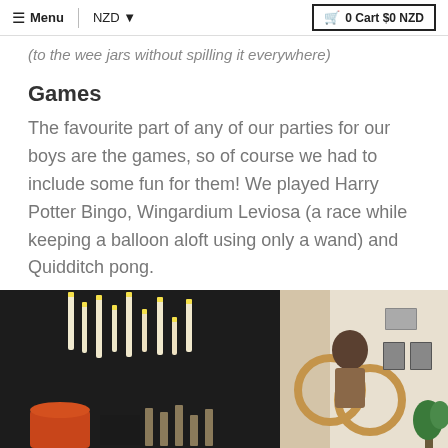≡ Menu | NZD ▼  🛒 0 Cart $0 NZD
(to the wee jars without spilling it everywhere)
Games
The favourite part of any of our parties for our boys are the games, so of course we had to include some fun for them! We played Harry Potter Bingo, Wingardium Leviosa (a race while keeping a balloon aloft using only a wand) and Quidditch pong.
[Figure (photo): Party room photo showing floating candles on dark background on left side and a child with wooden gymnastic rings on the right side]